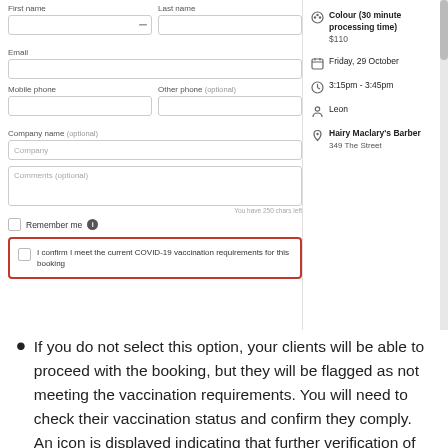[Figure (screenshot): Screenshot of a booking form with fields: First name, Last name, Email, Mobile phone, Other phone (optional), Company name (optional), Comments (optional). A red-bordered box contains a COVID-19 vaccination confirmation checkbox. Right panel shows booking details: Colour (30 minute processing time) $110, Friday, 29 October, 3:15pm - 3:45pm, Leon, Hairy Maclary's Barber, 349 The Street.]
If you do not select this option, your clients will be able to proceed with the booking, but they will be flagged as not meeting the vaccination requirements. You will need to check their vaccination status and confirm they comply. An icon is displayed indicating that further verification of their status is required.